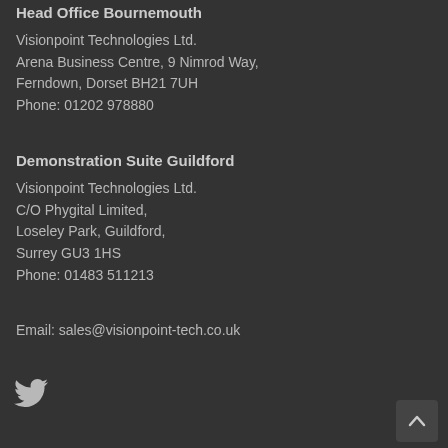Head Office Bournemouth
Visionpoint Technologies Ltd.
Arena Business Centre, 9 Nimrod Way,
Ferndown, Dorset BH21 7UH
Phone: 01202 978880
Demonstration Suite Guildford
Visionpoint Technologies Ltd.
C/O Phygital Limited,
Loseley Park, Guildford,
Surrey GU3 1HS
Phone: 01483 511213
Email: sales@visionpoint-tech.co.uk
[Figure (logo): Twitter bird icon]
[Figure (other): Scroll to top button with upward chevron arrow]